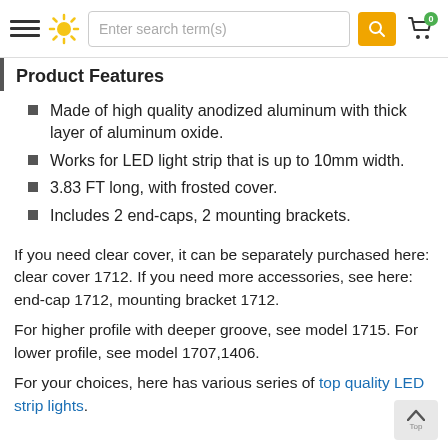Navigation bar with hamburger menu, sun icon, search box 'Enter search term(s)', search button, and cart icon with badge 0
Product Features
Made of high quality anodized aluminum with thick layer of aluminum oxide.
Works for LED light strip that is up to 10mm width.
3.83 FT long, with frosted cover.
Includes 2 end-caps, 2 mounting brackets.
If you need clear cover, it can be separately purchased here: clear cover 1712. If you need more accessories, see here: end-cap 1712, mounting bracket 1712.
For higher profile with deeper groove, see model 1715. For lower profile, see model 1707,1406.
For your choices, here has various series of top quality LED strip lights.